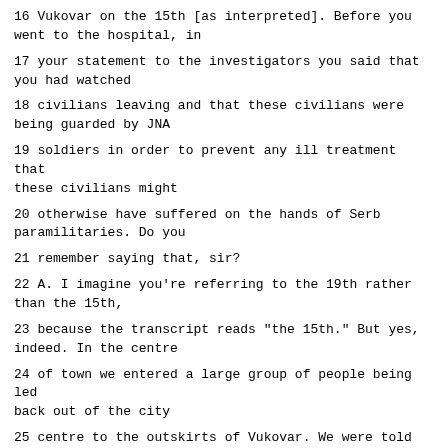16 Vukovar on the 15th [as interpreted]. Before you went to the hospital, in
17 your statement to the investigators you said that you had watched
18 civilians leaving and that these civilians were being guarded by JNA
19 soldiers in order to prevent any ill treatment that these civilians might
20 otherwise have suffered on the hands of Serb paramilitaries. Do you
21 remember saying that, sir?
22 A. I imagine you're referring to the 19th rather than the 15th,
23 because the transcript reads "the 15th." But yes, indeed. In the centre
24 of town we entered a large group of people being led back out of the city
25 centre to the outskirts of Vukovar. We were told by the JNA that they
Page 3183
1 were being led back because they -- that would be a